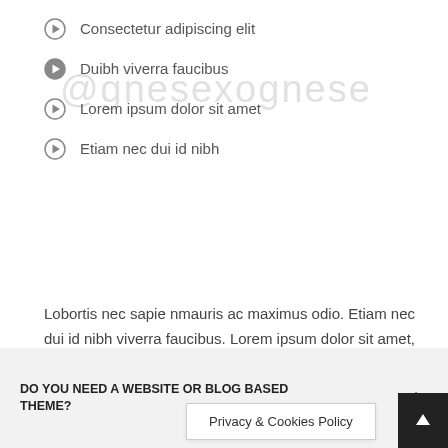Consectetur adipiscing elit
Duibh viverra faucibus
Lorem ipsum dolor sit amet
Etiam nec dui id nibh
Lobortis nec sapie nmauris ac maximus odio. Etiam nec dui id nibh viverra faucibus. Lorem ipsum dolor sit amet, consectetur adipiscing elit. Mauris non risus consectetur adipiscing elit. Mauris non risus sem faucibus .
DO YOU NEED A WEBSITE OR BLOG BASED THEME?
Privacy & Cookies Policy